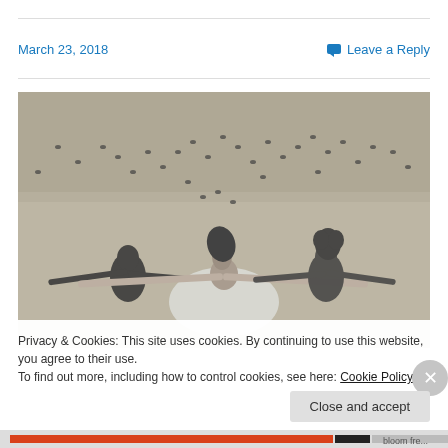March 23, 2018
Leave a Reply
[Figure (photo): Black and white photograph of three women lying on their backs on dry grass with arms outstretched, birds flying around them.]
Privacy & Cookies: This site uses cookies. By continuing to use this website, you agree to their use.
To find out more, including how to control cookies, see here: Cookie Policy
Close and accept